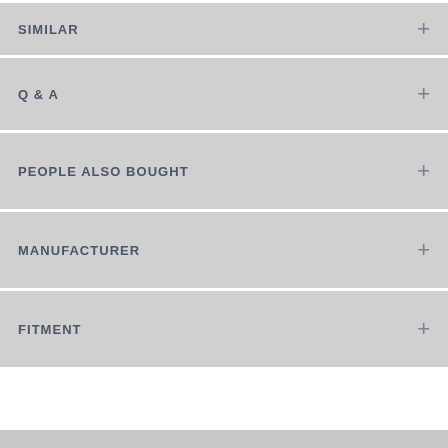SIMILAR
Q & A
PEOPLE ALSO BOUGHT
MANUFACTURER
FITMENT
Contact Us
Returns & Warranties
Order Status
Price Match Request
Store Locator
Financing
Shipping Information
Privacy Policy